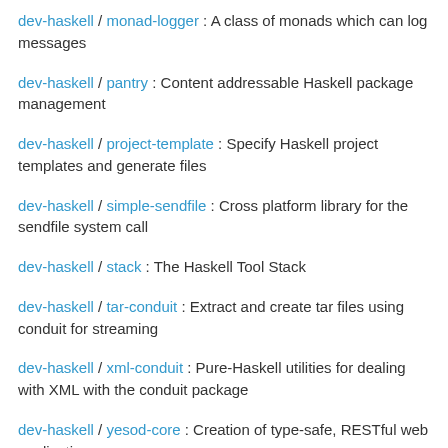dev-haskell / monad-logger : A class of monads which can log messages
dev-haskell / pantry : Content addressable Haskell package management
dev-haskell / project-template : Specify Haskell project templates and generate files
dev-haskell / simple-sendfile : Cross platform library for the sendfile system call
dev-haskell / stack : The Haskell Tool Stack
dev-haskell / tar-conduit : Extract and create tar files using conduit for streaming
dev-haskell / xml-conduit : Pure-Haskell utilities for dealing with XML with the conduit package
dev-haskell / yesod-core : Creation of type-safe, RESTful web applications
Change logs